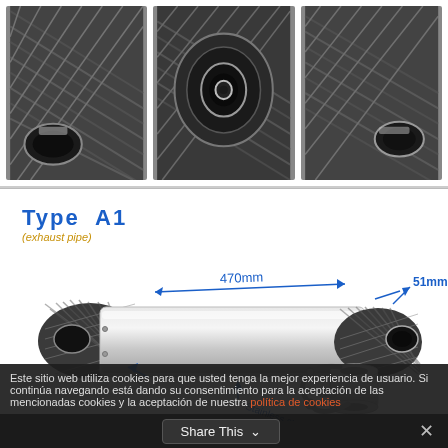[Figure (photo): Three close-up photos of a carbon fiber motorcycle exhaust pipe tip showing the end opening and textured carbon fiber weave pattern from different angles]
[Figure (engineering-diagram): Engineering diagram of Type A1 exhaust pipe showing dimensions: 470mm length, 51mm inlet diameter, stainless steel body with carbon fiber tip end cap. Blue arrows indicate measurements with labels for 470mm, 51mm, and Stainless steel. Also shows the mounting bracket/clamp separately.]
Este sitio web utiliza cookies para que usted tenga la mejor experiencia de usuario. Si continúa navegando está dando su consentimiento para la aceptación de las mencionadas cookies y la aceptación de nuestra política de cookies
Share This